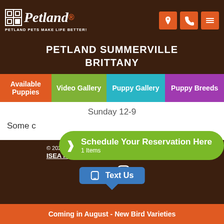Petland — PETLAND PETS MAKE LIFE BETTER!
PETLAND SUMMERVILLE BRITTANY
Available Puppies
Video Gallery
Puppy Gallery
Puppy Breeds
Sunday 12-9
Some c… Schedule Your Reservation Here 1 Items
5.0 based on 19 ratings
© 2022 PETLAND SUMMERVILLE. DEVELOPED BY ISEA MEDIA
Text Us
Coming in August - New Bird Varieties